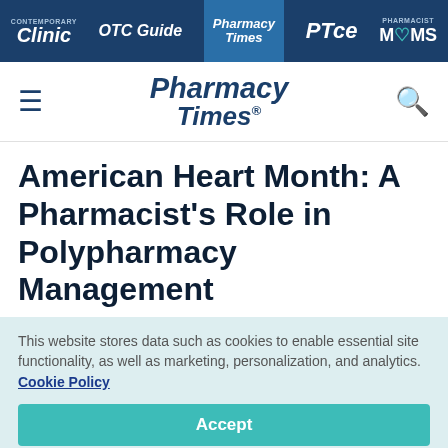Contemporary Clinic | OTC Guide | Pharmacy Times | PTce | Pharmacist MOMS
[Figure (logo): Pharmacy Times logo with hamburger menu and search icon]
American Heart Month: A Pharmacist’s Role in Polypharmacy Management
This website stores data such as cookies to enable essential site functionality, as well as marketing, personalization, and analytics. Cookie Policy
Accept
Deny